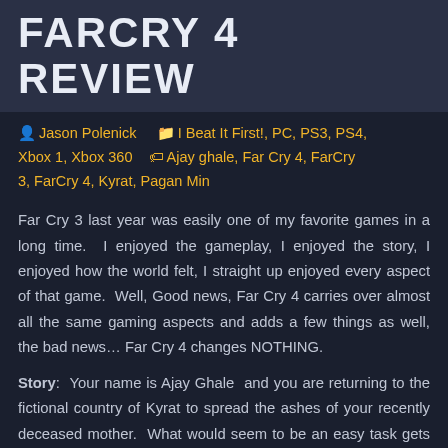FARCRY 4 REVIEW
Jason Polenick  I Beat It First!, PC, PS3, PS4, Xbox 1, Xbox 360  Ajay ghale, Far Cry 4, FarCry 3, FarCry 4, Kyrat, Pagan Min
Far Cry 3 last year was easily one of my favorite games in a long time.  I enjoyed the gameplay, I enjoyed the story, I enjoyed how the world felt, I straight up enjoyed every aspect of that game.  Well, Good news, Far Cry 4 carries over almost all the same gaming aspects and adds a few things as well, the bad news… Far Cry 4 changes NOTHING.
Story: Your name is Ajay Ghale and you are returning to the fictional country of Kyrat to spread the ashes of your recently deceased mother.  What would seem to be an easy task gets you thrown right in the middle of a huge civil war between the